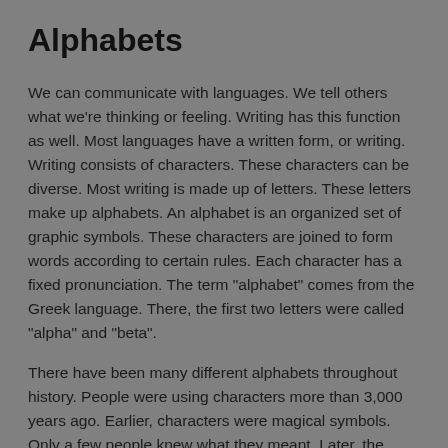Alphabets
We can communicate with languages. We tell others what we're thinking or feeling. Writing has this function as well. Most languages have a written form, or writing. Writing consists of characters. These characters can be diverse. Most writing is made up of letters. These letters make up alphabets. An alphabet is an organized set of graphic symbols. These characters are joined to form words according to certain rules. Each character has a fixed pronunciation. The term "alphabet" comes from the Greek language. There, the first two letters were called "alpha" and "beta".
There have been many different alphabets throughout history. People were using characters more than 3,000 years ago. Earlier, characters were magical symbols. Only a few people knew what they meant. Later, the characters lost their symbolic nature. Today, letters have no meaning. They only have a meaning when they are combined with other letters. Characters such as that of the Chinese function differently. They resemble pictures and often depict what they mean.